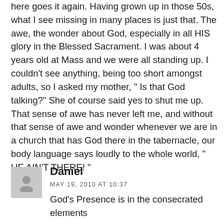here goes it again. Having grown up in those 50s, what I see missing in many places is just that. The awe, the wonder about God, especially in all HIS glory in the Blessed Sacrament. I was about 4 years old at Mass and we were all standing up. I couldn't see anything, being too short amongst adults, so I asked my mother, " Is that God talking?" She of course said yes to shut me up. That sense of awe has never left me, and without that sense of awe and wonder whenever we are in a church that has God there in the tabernacle, our body language says loudly to the whole world, " HE AIN'T THERE! "
Daniel
MAY 19, 2010 AT 10:37
God's Presence is in the consecrated elements